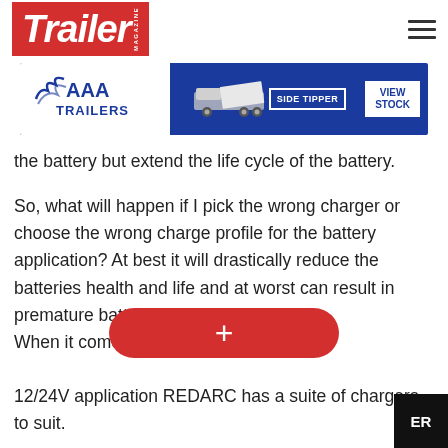Trailer Magazine
[Figure (other): AAA Trailers advertisement banner with side tipper truck image, blue background, white AAA Trailers logo on left, SIDE TIPPER label, and VIEW STOCK button on right]
the battery but extend the life cycle of the battery.

So, what will happen if I pick the wrong charger or choose the wrong charge profile for the battery application? At best it will drastically reduce the batteries health and life and at worst can result in premature battery failure.
When it comes to choosing 12/24V application REDARC has a suite of chargers to suit.